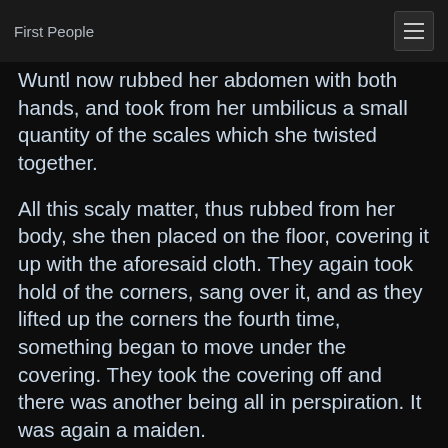First People
Wuntl now rubbed her abdomen with both hands, and took from her umbilicus a small quantity of the scales which she twisted together.
All this scaly matter, thus rubbed from her body, she then placed on the floor, covering it up with the aforesaid cloth. They again took hold of the corners, sang over it, and as they lifted up the corners the fourth time, something began to move under the covering. They took the covering off and there was another being all in perspiration. It was again a maiden.
She wiped off the perspiration from her body with